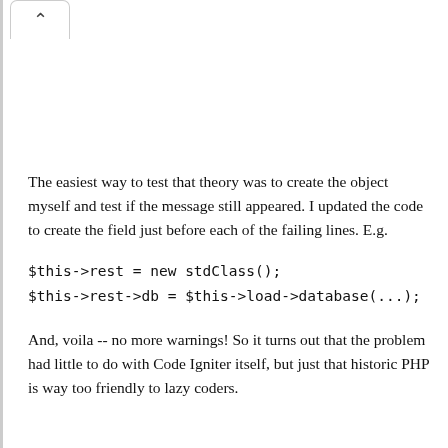The easiest way to test that theory was to create the object myself and test if the message still appeared. I updated the code to create the field just before each of the failing lines. E.g.
$this->rest = new stdClass();
$this->rest->db = $this->load->database(...);
And, voila -- no more warnings! So it turns out that the problem had little to do with Code Igniter itself, but just that historic PHP is way too friendly to lazy coders.